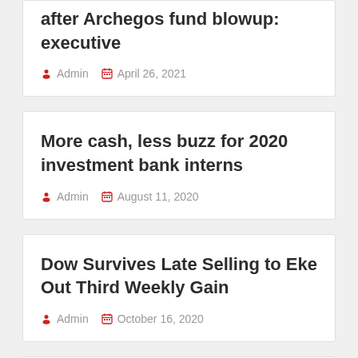after Archegos fund blowup: executive
Admin  April 26, 2021
More cash, less buzz for 2020 investment bank interns
Admin  August 11, 2020
Dow Survives Late Selling to Eke Out Third Weekly Gain
Admin  October 16, 2020
Asian Stocks Down, Apple To Slows Hiring on Economic Worries